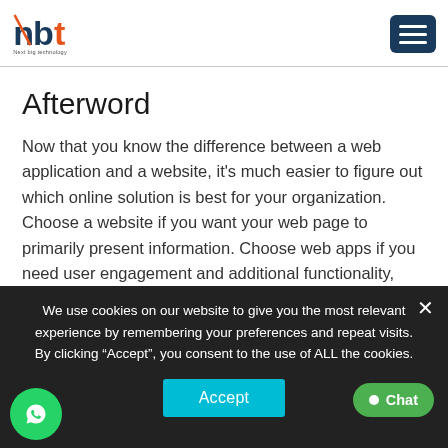[Figure (logo): NBT (Next Big Technology) logo with orange and blue lettering and tagline 'Next big technology']
Afterword
Now that you know the difference between a web application and a website, it's much easier to figure out which online solution is best for your organization. Choose a website if you want your web page to primarily present information. Choose web apps if you need user engagement and additional functionality, such as the ability to conduct online transactions, or if you want to actively profit from integration with other systems and a high level
We use cookies on our website to give you the most relevant experience by remembering your preferences and repeat visits. By clicking "Accept", you consent to the use of ALL the cookies.